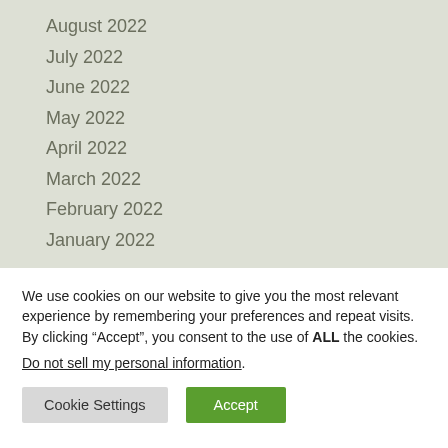August 2022
July 2022
June 2022
May 2022
April 2022
March 2022
February 2022
January 2022
We use cookies on our website to give you the most relevant experience by remembering your preferences and repeat visits. By clicking “Accept”, you consent to the use of ALL the cookies.
Do not sell my personal information.
Cookie Settings | Accept